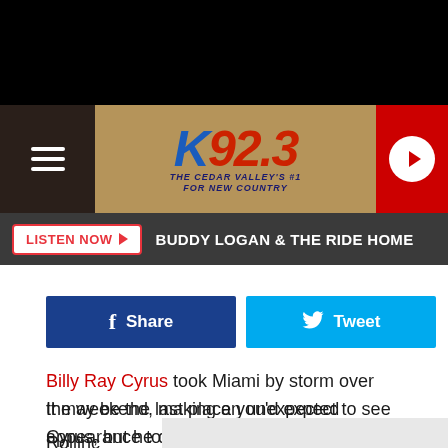[Figure (logo): K92.3 The Cedar Valley's #1 For New Country radio station logo with hamburger menu and play button]
LISTEN NOW ▶  BUDDY LOGAN & THE RIDE HOME
[Figure (screenshot): Share on Facebook and Tweet buttons]
Billy Ray Cyrus took Miami by storm over the weekend, making an unexpected appearance to perform the viral smash "Old Town Road" with Lil Nas X during his set at the Rolling Loud Festival.

It may be the last place you'd expect to see Cyrus, but he definitely owned the crowd.

Rolling